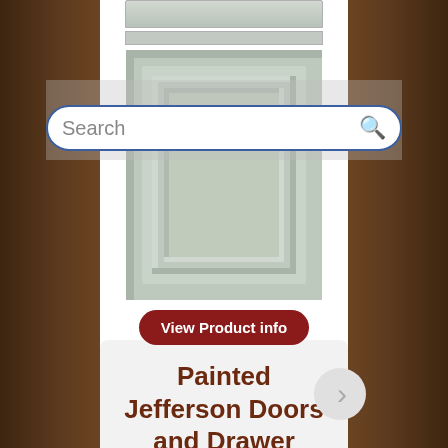[Figure (screenshot): A mobile/web page screenshot showing a search bar overlay with a painted cabinet door (Jefferson style, sage/gray-green color) product image, a 'View Product info' button, and a section heading below on a white center panel with dark wood side borders.]
Search
View Product info
Painted Jefferson Doors and Drawer Fronts